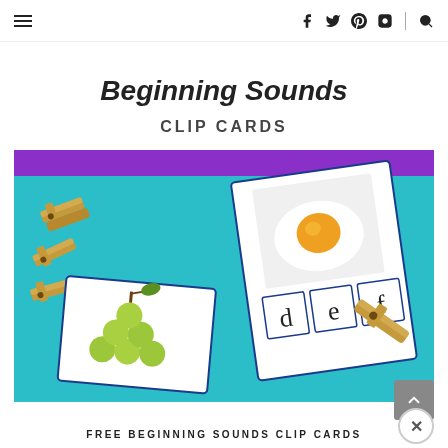≡  f  t  p  [instagram]  |  [search]
[Figure (photo): Educational clip cards activity showing beginning sounds. A white card with an image of a fried egg and letters 'd', 'e', 'f' with a clothespin clip, alongside a card with green grapes. Several wooden clothespins are on a teal/turquoise background. Purple and white header reads 'Beginning Sounds CLIP CARDS'.]
FREE BEGINNING SOUNDS CLIP CARDS